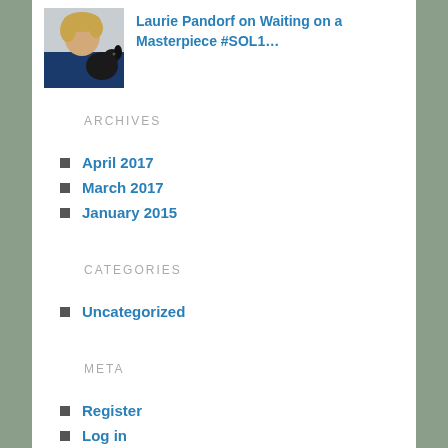[Figure (photo): Avatar photo of a woman with a dark dog]
Laurie Pandorf on Waiting on a Masterpiece #SOL1…
ARCHIVES
April 2017
March 2017
January 2015
CATEGORIES
Uncategorized
META
Register
Log in
Entries feed
Comments feed
WordPress.com